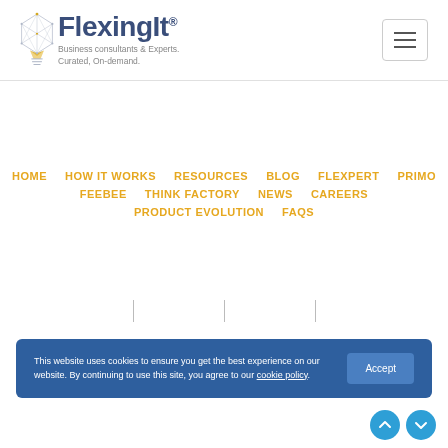[Figure (logo): FlexingIt logo: geometric lightbulb illustration with gold/grey polygon lines, beside the brand name 'FlexingIt' in dark blue bold text with registered trademark symbol, and tagline 'Business consultants & Experts. Curated, On-demand.' in grey]
HOME   HOW IT WORKS   RESOURCES   BLOG   FLEXPERT PRIMO   FEEBEE   THINK FACTORY   NEWS   CAREERS   PRODUCT EVOLUTION   FAQS
This website uses cookies to ensure you get the best experience on our website. By continuing to use this site, you agree to our cookie policy.